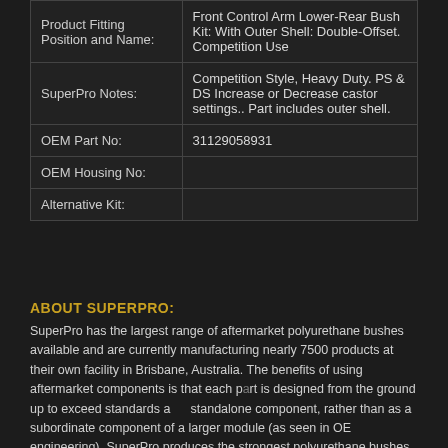| Product Fitting Position and Name: | Front Control Arm Lower-Rear Bush Kit: With Outer Shell: Double-Offset. Competition Use |
| SuperPro Notes: | Competition Style, Heavy Duty. PS & DS Increase or Decrease castor settings.. Part includes outer shell. |
| OEM Part No: | 31129058931 |
| OEM Housing No: |  |
| Alternative Kit: |  |
ABOUT SUPERPRO:
SuperPro has the largest range of aftermarket polyurethane bushes available and are currently manufacturing nearly 7500 products at their own facility in Brisbane, Australia. The benefits of using aftermarket components is that each part is designed from the ground up to exceed standards as a standalone component, rather than as a subordinate component of a larger module (as seen in OE engineering). SuperPro produces the strongest polyurethane bushes with the highest quality